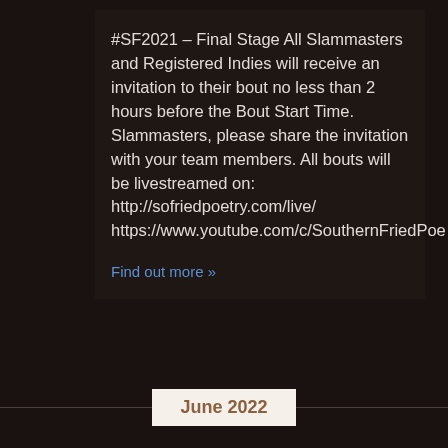#SF2021 – Final Stage All Slammasters and Registered Indies will receive an invitation to their bout no less than 2 hours before the Bout Start Time. Slammasters, please share the invitation with your team members. All bouts will be livestreamed on: http://sofriedpoetry.com/live/ https://www.youtube.com/c/SouthernFriedPoe
Find out more »
June 2022